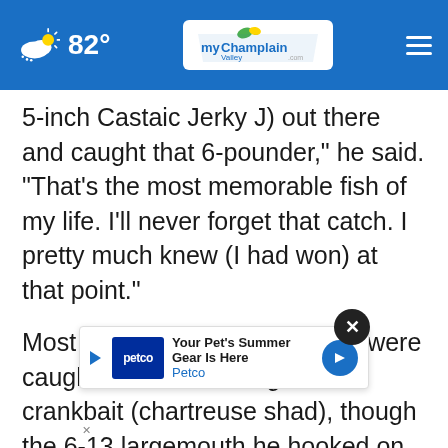82° | myChamplainValley.com
5-inch Castaic Jerky J) out there and caught that 6-pounder," he said. "That's the most memorable fish of my life. I'll never forget that catch. I pretty much knew (I had won) at that point."
Most of Lester's Pickwick bass were caught on a Strike King 4.0 crankbait (chartreuse shad), though the 6-13 largemouth he hooked on Day 3 came on a football jig. He also used a Berkley MaxS… with a 1/8-ounce Mustad tungsten nail weight in the
[Figure (screenshot): Petco advertisement banner: 'Your Pet's Summer Gear Is Here - Petco' with play and arrow icons]